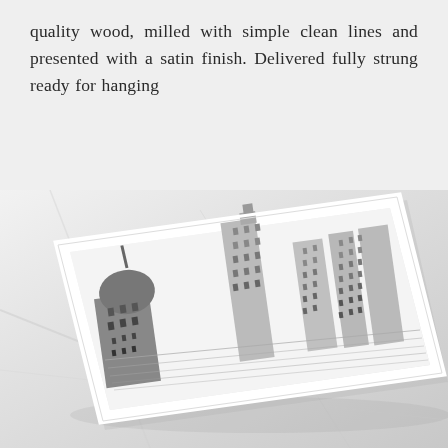quality wood, milled with simple clean lines and presented with a satin finish. Delivered fully strung ready for hanging
[Figure (photo): A framed art print featuring a detailed architectural skyline illustration (city buildings, landmark dome structure), displayed at an angle on a white marble surface. The print appears in black and white/grayscale with detailed linework of city buildings.]